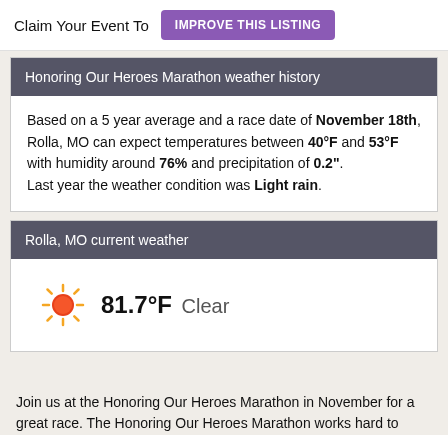Claim Your Event To  IMPROVE THIS LISTING
Honoring Our Heroes Marathon weather history
Based on a 5 year average and a race date of November 18th, Rolla, MO can expect temperatures between 40°F and 53°F with humidity around 76% and precipitation of 0.2". Last year the weather condition was Light rain.
Rolla, MO current weather
81.7°F Clear
Join us at the Honoring Our Heroes Marathon in November for a great race. The Honoring Our Heroes Marathon works hard to